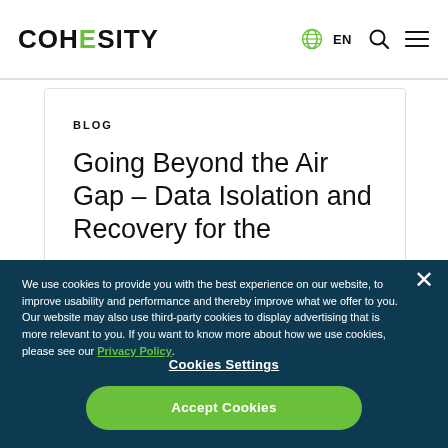COHESITY — EN navigation bar
BLOG
Going Beyond the Air Gap – Data Isolation and Recovery for the
We use cookies to provide you with the best experience on our website, to improve usability and performance and thereby improve what we offer to you. Our website may also use third-party cookies to display advertising that is more relevant to you. If you want to know more about how we use cookies, please see our Privacy Policy.
Cookies Settings
Accept Cookies